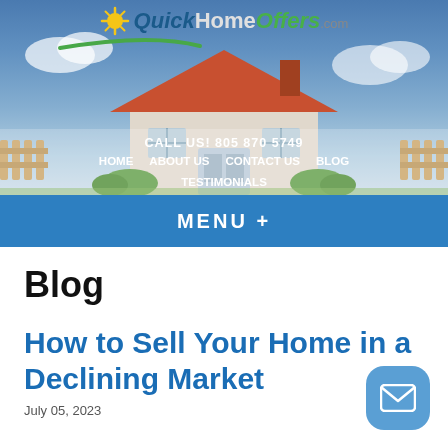[Figure (screenshot): QuickHomeOffers.com website header with logo, navigation links (HOME, ABOUT US, CONTACT US, BLOG, TESTIMONIALS), house illustration background, and blue MENU bar]
Blog
How to Sell Your Home in a Declining Market
July 05, 2023